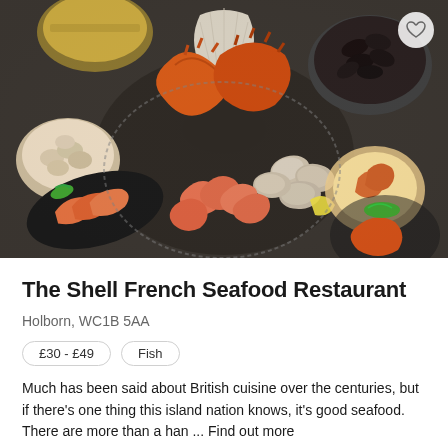[Figure (photo): Overhead view of a large spread of seafood dishes including crab claws, oysters, prawns/shrimp, clams, mussels, salmon sashimi, and other shellfish arranged on a dark table]
The Shell French Seafood Restaurant
Holborn, WC1B 5AA
£30 - £49
Fish
Much has been said about British cuisine over the centuries, but if there's one thing this island nation knows, it's good seafood. There are more than a han ... Find out more